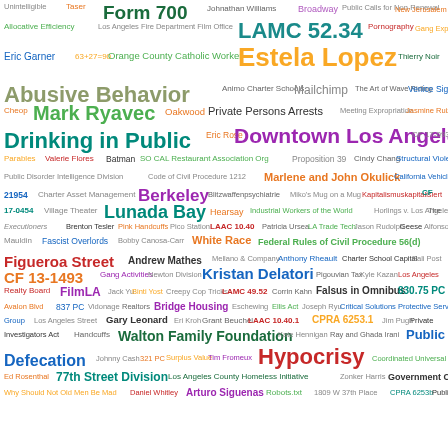[Figure (infographic): Word cloud containing government, legal, and civic-related terms in various sizes and colors representing frequency/importance. Terms include: Unintelligible, Taser, Form 700, Johnathan Williams, Broadway, Public Calls for Non-Renewal, New Jerusalem, Allocative Efficiency, Los Angeles Fire Department Film Office, LAMC 52.34, Pornography, Gang Experts, Eric Garner, 63+27=90, Orange County Catholic Worker, Estela Lopez, Thierry Noir, Abusive Behavior, Animo Charter Schools, Mailchimp, The Art of Wave Riding, Venice Sign, Cheop, Mark Ryavec, Oakwood, Private Persons Arrests, Meeting Expropriation, Jasmine Ruiz, Drinking in Public, Eric Rose, Downtown Los Angeles, CF 17-0933, Parables, Valerie Flores, Batman, SO CAL Restaurant Association Org, Proposition 39, Cindy Chang, Structural Violence, Public Disorder Intelligence Division, Code of Civil Procedure 1212, Marlene and John Okulick, California Vehicle Code, 21954, Charter Asset Management, Berkeley, Blitzwaffentpsychiatrie, Miko's Mug on a Mug, Kapitalismuskapitalisiert, CF 17-0454, Village Theater, Lunada Bay, Hearsay, Industrial Workers of the World, Horlings v. Los Angeles, The Executioners, Brenton Tesler, Pink Handcuffs, Pico Station, LAAC 10.40, Patricia Ursea, LA Trade Tech, Jason Rudolph, Geese, Alfonso Mauldin, Fascist Overlords, Bobby Canosa-Carr, White Race, Federal Rules of Civil Procedure 56(d), Figueroa Street, Andrew Mathes, Mellano & Company, Anthony Rheault, Charter School Capital, Pali Post, CF 13-1493, Gang Activities, Newton Division, Kristan Delatori, Pigouvian Tax, Kyle Kazan, Los Angeles Realty Board, FilmLA, Jack Yu, Binti Yost, Creepy Cop Tricks, LAMC 49.52, Corrin Kahn, Falsus in Omnibus, 830.75 PC, Avalon Blvd, 837 PC, Vidonage, Realtors, Bridge Housing, Eschewing, Ellis Act, Joseph Ryu, Critical Solutions Protective Services Group, Los Angeles Street, Gary Leonard, Eri Kroh, Grant Beuchel, LAAC 10.40.1, CPRA 6253.1, Jim Pugh, Private Investigators Act, Handcuffs, Walton Family Foundation, Kate Hennigan, Ray and Ghada Irani, Public Defecation, Johnny Cash, 321 PC, Surplus Value, Tim Fromeux, Hypocrisy, Coordinated Universal Time, Ed Rosenthal, 77th Street Division, Los Angeles County Homeless Initiative, Zonker Harris, Government Code 1222, Why Should Not Old Men Be Mad, Daniel Whitley, Arturo Siguenas, Robots.txt, 1809 W 37th Place, CPRA 6253b, Public Storage]